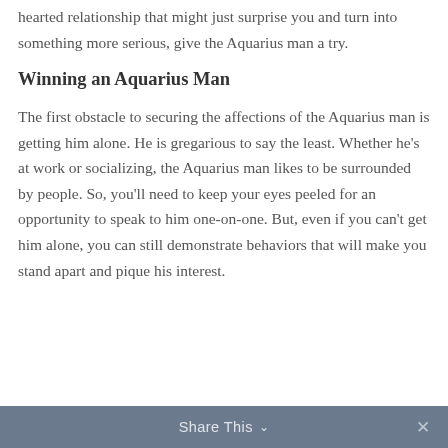hearted relationship that might just surprise you and turn into something more serious, give the Aquarius man a try.
Winning an Aquarius Man
The first obstacle to securing the affections of the Aquarius man is getting him alone. He is gregarious to say the least. Whether he's at work or socializing, the Aquarius man likes to be surrounded by people. So, you'll need to keep your eyes peeled for an opportunity to speak to him one-on-one. But, even if you can't get him alone, you can still demonstrate behaviors that will make you stand apart and pique his interest.
Share This ∨  ×